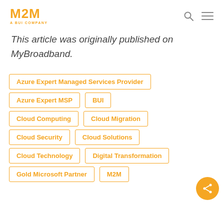M2M A BUI COMPANY
This article was originally published on MyBroadband.
Azure Expert Managed Services Provider
Azure Expert MSP
BUI
Cloud Computing
Cloud Migration
Cloud Security
Cloud Solutions
Cloud Technology
Digital Transformation
Gold Microsoft Partner
M2M